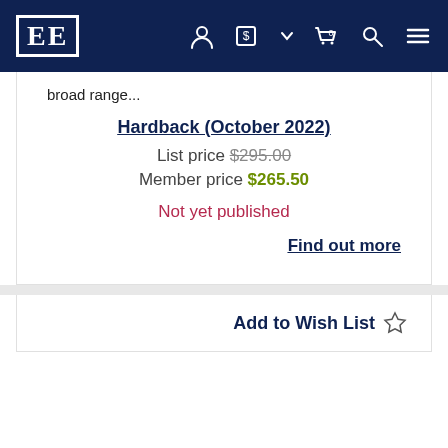EE [logo] with user, currency, cart, search, menu icons
broad range...
Hardback (October 2022)
List price $295.00
Member price $265.50
Not yet published
Find out more
Add to Wish List ☆